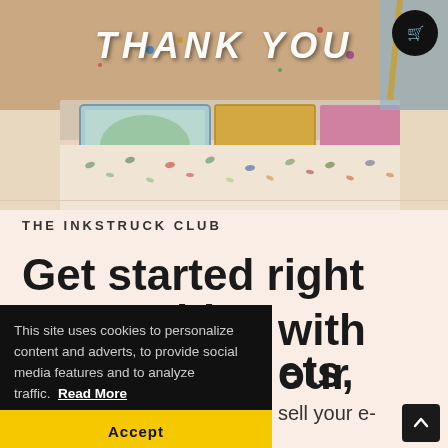[Figure (photo): Photo of a person holding a colorful decorated box/kit with paint splatters, wearing a floral outfit. 'THANK YOU' text overlaid in white italic letters at top.]
THE INKSTRUCK CLUB
Get started right away with our curated art supply packets,
This site uses cookies to personalize content and adverts, to provide social media features and to analyze traffic. Read More
Accept
sell your e-
th cl b att